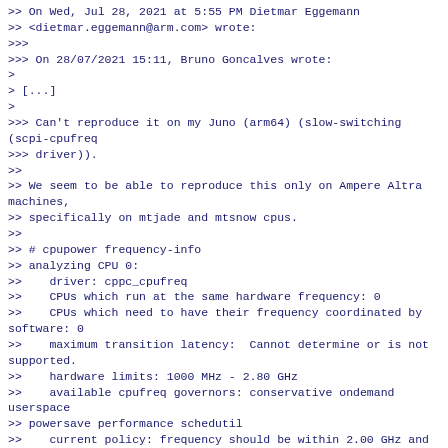>> On Wed, Jul 28, 2021 at 5:55 PM Dietmar Eggemann
>> <dietmar.eggemann@arm.com> wrote:
>>>
>>> On 28/07/2021 15:11, Bruno Goncalves wrote:
>
> [...]
>
>>> Can't reproduce it on my Juno (arm64) (slow-switching (scpi-cpufreq
>>> driver)).
>>
>> We seem to be able to reproduce this only on Ampere Altra machines,
>> specifically on mtjade and mtsnow cpus.
>>
>> # cpupower frequency-info
>> analyzing CPU 0:
>>    driver: cppc_cpufreq
>>    CPUs which run at the same hardware frequency: 0
>>    CPUs which need to have their frequency coordinated by software: 0
>>    maximum transition latency:  Cannot determine or is not supported.
>>    hardware limits: 1000 MHz - 2.80 GHz
>>    available cpufreq governors: conservative ondemand userspace
>> powersave performance schedutil
>>    current policy: frequency should be within 2.00 GHz and 2.80 GHz.
>>
>>              The governor "schedutil" may